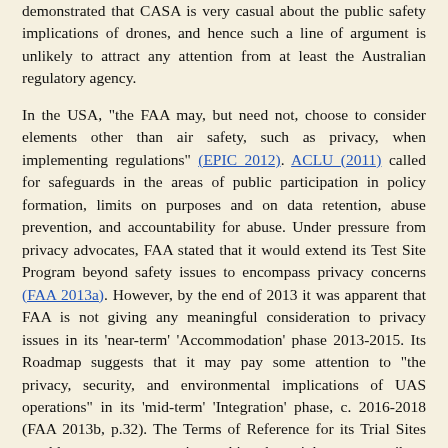demonstrated that CASA is very casual about the public safety implications of drones, and hence such a line of argument is unlikely to attract any attention from at least the Australian regulatory agency.
In the USA, "the FAA may, but need not, choose to consider elements other than air safety, such as privacy, when implementing regulations" (EPIC 2012). ACLU (2011) called for safeguards in the areas of public participation in policy formation, limits on purposes and on data retention, abuse prevention, and accountability for abuse. Under pressure from privacy advocates, FAA stated that it would extend its Test Site Program beyond safety issues to encompass privacy concerns (FAA 2013a). However, by the end of 2013 it was apparent that FAA is not giving any meaningful consideration to privacy issues in its 'near-term' 'Accommodation' phase 2013-2015. Its Roadmap suggests that it may pay some attention to "the privacy, security, and environmental implications of UAS operations" in its 'mid-term' 'Integration' phase, c. 2016-2018 (FAA 2013b, p.32). The Terms of Reference for its Trial Sites would appear not to contain anything that might even contribute to an understanding of behavioural privacy issues, let alone to the development of effective protections (FAA 2013c).
In Europe, the Joint Aviation Authorities' concept document for UAV regulation was exclusively concerned with safety aspects of